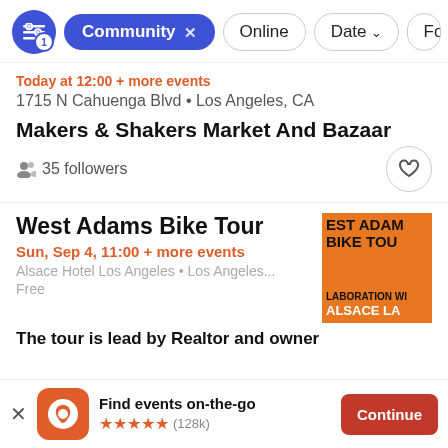[Figure (screenshot): Filter bar with settings icon with badge '1', active 'Community x' pill, 'Online' pill, 'Date v' pill, and partially visible 'Fo...' pill]
Today at 12:00 + more events
1715 N Cahuenga Blvd • Los Angeles, CA
Makers & Shakers Market And Bazaar
35 followers
West Adams Bike Tour
Sun, Sep 4, 11:00 + more events
Alsace Hotel Los Angeles • Los Angeles...
Free
[Figure (illustration): Orange thumbnail image with text 'EST ADAMS BIKE TOUR LABORATION WI ALSACE LA' in black and white bold text]
The tour is lead by Realtor and owner
Find events on-the-go
★★★★★ (128k)
Continue